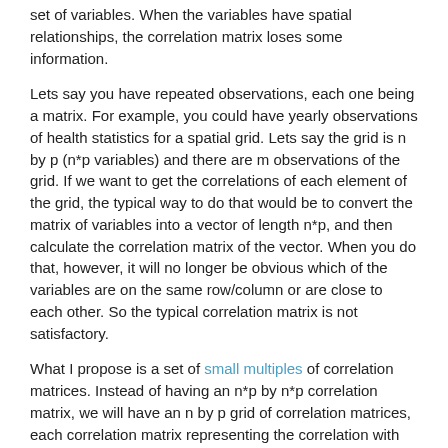set of variables. When the variables have spatial relationships, the correlation matrix loses some information.
Lets say you have repeated observations, each one being a matrix. For example, you could have yearly observations of health statistics for a spatial grid. Lets say the grid is n by p (n*p variables) and there are m observations of the grid. If we want to get the correlations of each element of the grid, the typical way to do that would be to convert the matrix of variables into a vector of length n*p, and then calculate the correlation matrix of the vector. When you do that, however, it will no longer be obvious which of the variables are on the same row/column or are close to each other. So the typical correlation matrix is not satisfactory.
What I propose is a set of small multiples of correlation matrices. Instead of having an n*p by n*p correlation matrix, we will have an n by p grid of correlation matrices, each correlation matrix representing the correlation with the variable in that position of the matrix. Below is an example.